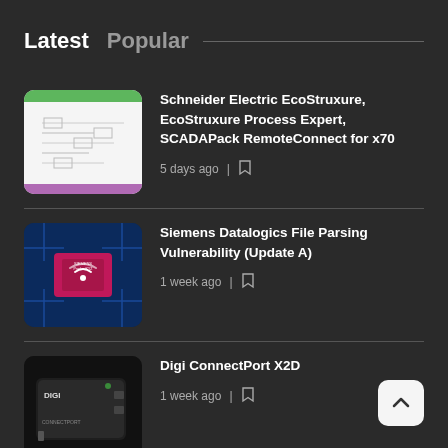Latest   Popular
[Figure (screenshot): Thumbnail image for Schneider Electric advisory — white background with green top bar, schematic diagram, and purple bottom bar]
Schneider Electric EcoStruxure, EcoStruxure Process Expert, SCADAPack RemoteConnect for x70
5 days ago
[Figure (screenshot): Thumbnail image for Siemens Datalogics advisory — dark blue background with circuit board pattern and a pink/magenta chip card in center]
Siemens Datalogics File Parsing Vulnerability (Update A)
1 week ago
[Figure (photo): Thumbnail image for Digi ConnectPort X2D — black hardware device on dark background with DIGI and CONNECTPORT branding]
Digi ConnectPort X2D
1 week ago